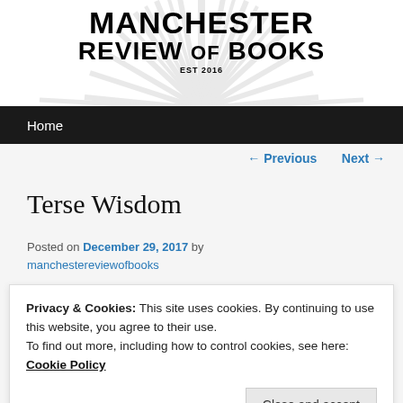[Figure (logo): Manchester Review of Books logo with sunburst rays behind the text, Est 2016]
Home
← Previous   Next →
Terse Wisdom
Posted on December 29, 2017 by manchestereviewofbooks
Privacy & Cookies: This site uses cookies. By continuing to use this website, you agree to their use.
To find out more, including how to control cookies, see here:
Cookie Policy
Close and accept
masculine portrait. It could be the ghost written